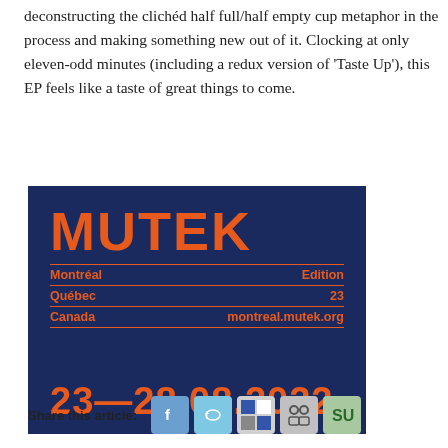deconstructing the clichéd half full/half empty cup metaphor in the process and making something new out of it. Clocking at only eleven-odd minutes (including a redux version of ‘Taste Up’), this EP feels like a taste of great things to come.
[Figure (logo): MUTEK festival logo on dark navy background with orange text showing MUTEK, Montréal Edition, Québec 23, Canada montreal.mutek.org, and dates 23—28.08.2022]
Share this article: